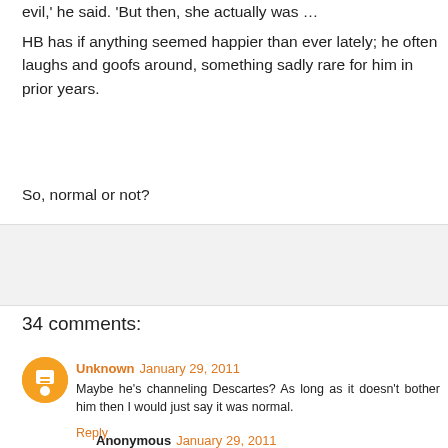evil,' he said. 'But then, she actually was …
HB has if anything seemed happier than ever lately; he often laughs and goofs around, something sadly rare for him in prior years.
So, normal or not?
34 comments:
Unknown January 29, 2011
Maybe he's channeling Descartes? As long as it doesn't bother him then I would just say it was normal.
Reply
Anonymous January 29, 2011